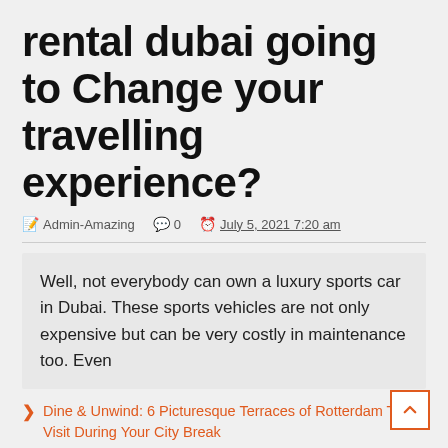rental dubai going to Change your travelling experience?
Admin-Amazing   0   July 5, 2021 7:20 am
Well, not everybody can own a luxury sports car in Dubai. These sports vehicles are not only expensive but can be very costly in maintenance too. Even
Dine & Unwind: 6 Picturesque Terraces of Rotterdam To Visit During Your City Break
All-inclusive accommodation in Usa | Fully furnished accommodation in Usa | Insurance related accommodation in Usa